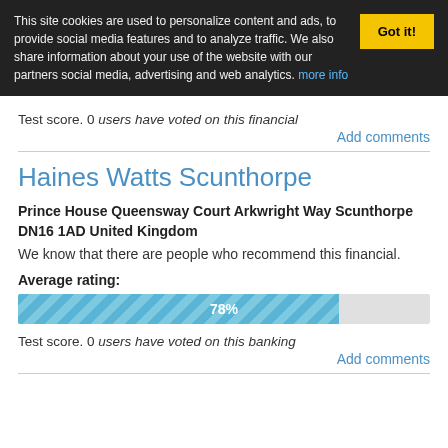This site cookies are used to personalize content and ads, to provide social media features and to analyze traffic. We also share information about your use of the website with our partners social media, advertising and web analytics. more info
Got it!
Test score. 0 users have voted on this financial
Add comments
Haines Watts Scunthorpe
Prince House Queensway Court Arkwright Way Scunthorpe DN16 1AD United Kingdom
We know that there are people who recommend this financial.
Average rating:
[Figure (bar-chart): Average rating]
Test score. 0 users have voted on this banking
Add comments